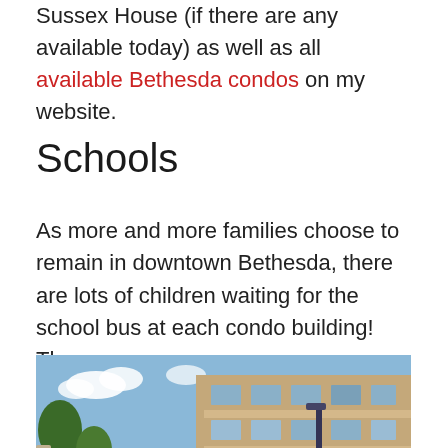Sussex House (if there are any available today) as well as all available Bethesda condos on my website.
Schools
As more and more families choose to remain in downtown Bethesda, there are lots of children waiting for the school bus at each condo building!  The
[Figure (photo): Exterior photo of Sussex House condo building at 4970, showing a brick multi-story building with balconies, trees, and landscaping. A red sign in the foreground reads SUSSEX HOUSE 4970.]